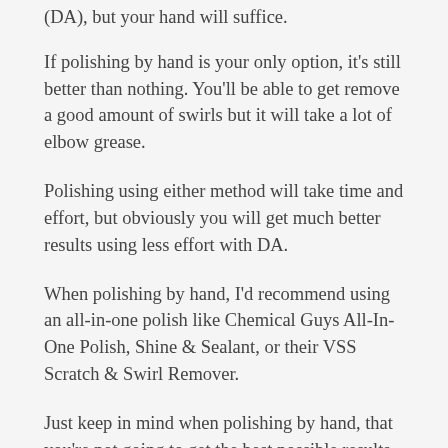(DA), but your hand will suffice.
If polishing by hand is your only option, it's still better than nothing. You'll be able to get remove a good amount of swirls but it will take a lot of elbow grease.
Polishing using either method will take time and effort, but obviously you will get much better results using less effort with DA.
When polishing by hand, I'd recommend using an all-in-one polish like Chemical Guys All-In-One Polish, Shine & Sealant, or their VSS Scratch & Swirl Remover.
Just keep in mind when polishing by hand, that you're not going to get the best possible results. You'll probably have to put in more effort than your expecting, and it could take